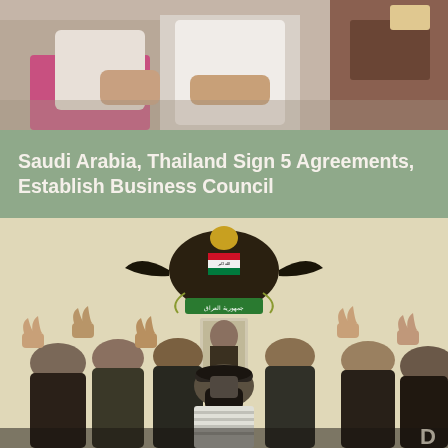[Figure (photo): Top portion of a photo showing people seated, partial view of individuals in a meeting or gathering setting]
Saudi Arabia, Thailand Sign 5 Agreements, Establish Business Council
[Figure (photo): Group of men making peace/victory signs with their hands, one person holding up a portrait photo, Iraqi republic coat of arms emblem visible on wall behind them]